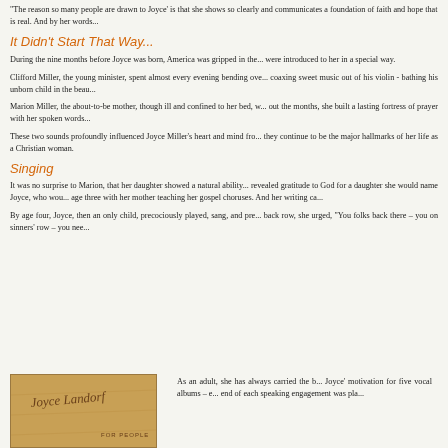"The reason so many people are drawn to Joyce' is that she shows so clearly and communicates a foundation of faith and hope that is real. And by her words..."
It Didn't Start That Way...
During the nine months before Joyce was born, America was gripped in the... were introduced to her in a special way.
Clifford Miller, the young minister, spent almost every evening bending ove... coaxing sweet music out of his violin - bathing his unborn child in the beau...
Marion Miller, the about-to-be mother, though ill and confined to her bed, w... out the months, she built a lasting fortress of prayer with her spoken words...
These two sounds profoundly influenced Joyce Miller's heart and mind fro... they continue to be the major hallmarks of her life as a Christian woman.
Singing
It was no surprise to Marion, that her daughter showed a natural ability... revealed gratitude to God for a daughter she would name Joyce, who wou... age three with her mother teaching her gospel choruses. And her writing ca...
By age four, Joyce, then an only child, precociously played, sang, and pre... back row, she urged, "You folks back there – you on sinners' row – you nee...
[Figure (photo): Album cover for Joyce, tan/golden background with cursive signature text and 'FOR PEOPLE' text]
As an adult, she has always carried the b... Joyce' motivation for five vocal albums – e... end of each speaking engagement was pla...